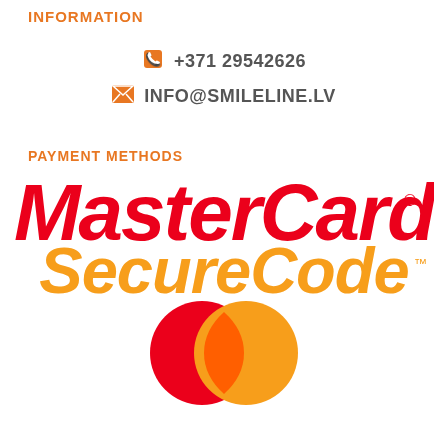INFORMATION
+371 29542626
INFO@SMILELINE.LV
PAYMENT METHODS
[Figure (logo): MasterCard SecureCode logo with red MasterCard text and orange SecureCode text]
[Figure (logo): MasterCard interlocking red and orange circles symbol]